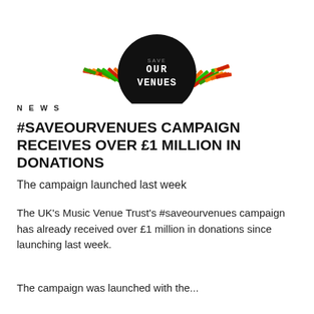[Figure (logo): Save Our Venues logo: circular badge with dark background showing 'SAVE OUR VENUES' text in pixelated style, surrounded by radiating bar chart-like elements in red, orange, and green colors]
NEWS
#SAVEOURVENUES CAMPAIGN RECEIVES OVER £1 MILLION IN DONATIONS
The campaign launched last week
The UK's Music Venue Trust's #saveourvenues campaign has already received over £1 million in donations since launching last week.
The campaign was launched with the...